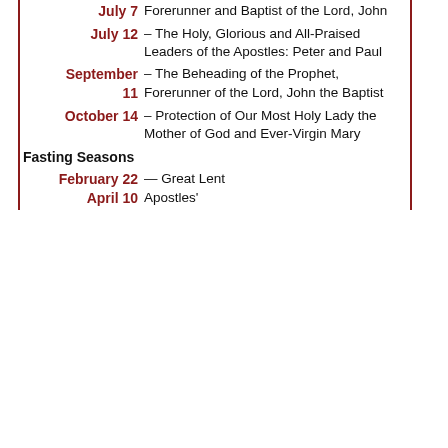| Date | Event |
| --- | --- |
| July 7 | Forerunner and Baptist of the Lord, John |
| July 12 | – The Holy, Glorious and All-Praised Leaders of the Apostles: Peter and Paul |
| September 11 | – The Beheading of the Prophet, Forerunner of the Lord, John the Baptist |
| October 14 | – Protection of Our Most Holy Lady the Mother of God and Ever-Virgin Mary |
Fasting Seasons
| Date | Event |
| --- | --- |
| February 22 – April 10 | Great Lent |
|  | Apostles' |